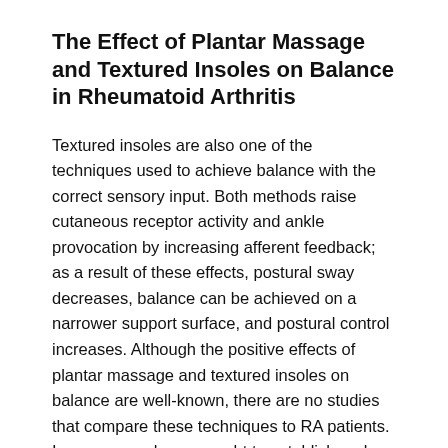The Effect of Plantar Massage and Textured Insoles on Balance in Rheumatoid Arthritis
Textured insoles are also one of the techniques used to achieve balance with the correct sensory input. Both methods raise cutaneous receptor activity and ankle provocation by increasing afferent feedback; as a result of these effects, postural sway decreases, balance can be achieved on a narrower support surface, and postural control increases. Although the positive effects of plantar massage and textured insoles on balance are well-known, there are no studies that compare these techniques to RA patients. In our research, we sought to establish and compare the effects of plantar massage, which provides short-term feedback, and the use of